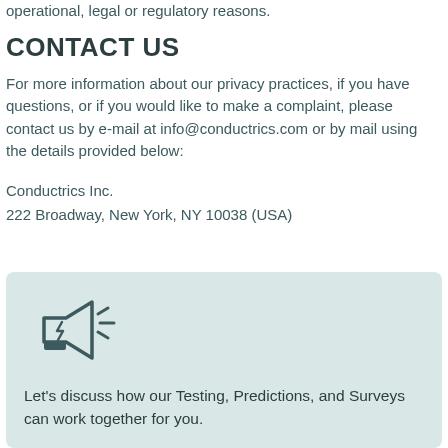operational, legal or regulatory reasons.
CONTACT US
For more information about our privacy practices, if you have questions, or if you would like to make a complaint, please contact us by e-mail at info@conductrics.com or by mail using the details provided below:
Conductrics Inc.
222 Broadway, New York, NY 10038 (USA)
[Figure (illustration): Megaphone/loudspeaker icon with lines indicating sound, dark teal outline style on light teal background]
Let's discuss how our Testing, Predictions, and Surveys can work together for you.